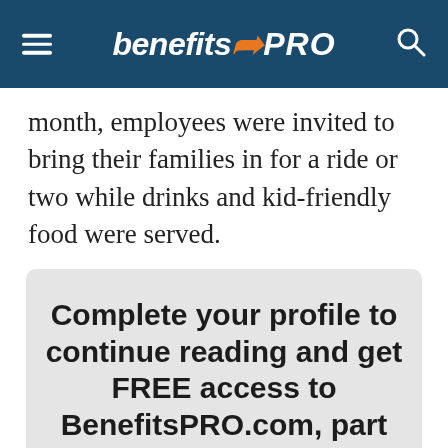benefitsPRO
month, employees were invited to bring their families in for a ride or two while drinks and kid-friendly food were served.
Complete your profile to continue reading and get FREE access to BenefitsPRO.com, part of your